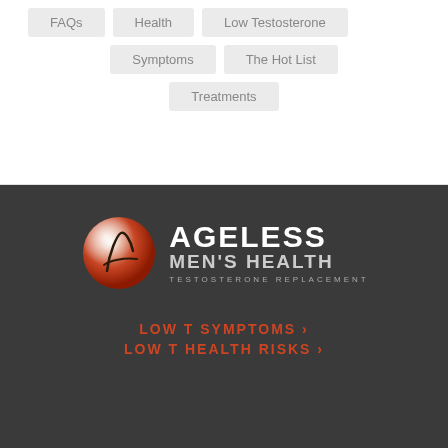FAQs
Health
Low Testosterone
Symptoms
The Hot List
Treatments
[Figure (logo): Ageless Men's Health - Testosterone Replacement logo with orange sphere icon]
LOW T SYMPTOMS ›
LOW T HEALTH RISKS ›